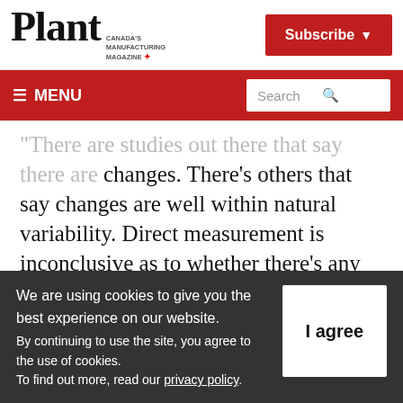Plant — Canada's Manufacturing Magazine | Subscribe
≡ MENU | Search
There are studies out there that say there are changes. There's others that say changes are well within natural variability. Direct measurement is inconclusive as to whether there's any significant change taking place."
Abel said industry-funded, government-run
We are using cookies to give you the best experience on our website.
By continuing to use the site, you agree to the use of cookies. To find out more, read our privacy policy.